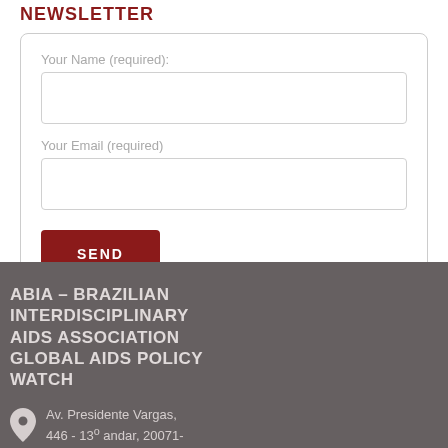NEWSLETTER
Your Name (required):
Your Email (required)
SEND
ABIA – BRAZILIAN INTERDISCIPLINARY AIDS ASSOCIATION GLOBAL AIDS POLICY WATCH
Av. Presidente Vargas, 446 - 13º andar, 20071-